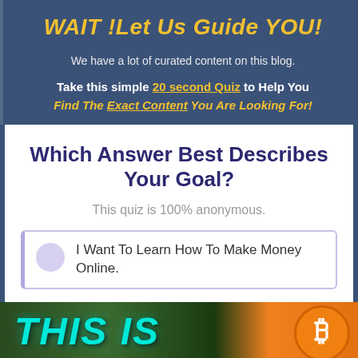WAIT !Let Us Guide YOU!
We have a lot of curated content on this blog.
Take this simple 20 second Quiz to Help You Find The Exact Content You Are Looking For!
Which Answer Best Describes Your Goal?
This quiz is 100% anonymous.
I Want To Learn How To Make Money Online.
[Figure (photo): Bottom strip showing THIS IS text in teal/cyan color on dark green background with Bitcoin logo on orange circle on the right]